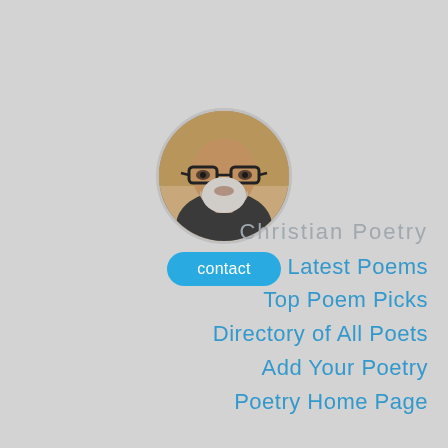[Figure (photo): Circular profile photo of a middle-aged man with glasses and a grey beard, wearing a dark shirt, with a contact button below.]
Christian Poetry
Latest Poems
Top Poem Picks
Directory of All Poets
Add Your Poetry
Poetry Home Page